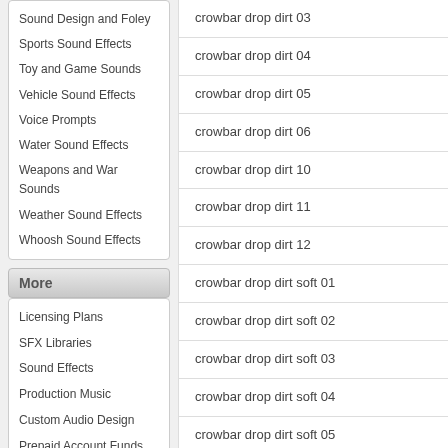Sound Design and Foley
Sports Sound Effects
Toy and Game Sounds
Vehicle Sound Effects
Voice Prompts
Water Sound Effects
Weapons and War Sounds
Weather Sound Effects
Whoosh Sound Effects
More
Licensing Plans
SFX Libraries
Sound Effects
Production Music
Custom Audio Design
Prepaid Account Funds
SoundSherpa Sounds
About
Blog
Contact
crowbar drop dirt 03
crowbar drop dirt 04
crowbar drop dirt 05
crowbar drop dirt 06
crowbar drop dirt 10
crowbar drop dirt 11
crowbar drop dirt 12
crowbar drop dirt soft 01
crowbar drop dirt soft 02
crowbar drop dirt soft 03
crowbar drop dirt soft 04
crowbar drop dirt soft 05
crowbar drop dirt soft 06